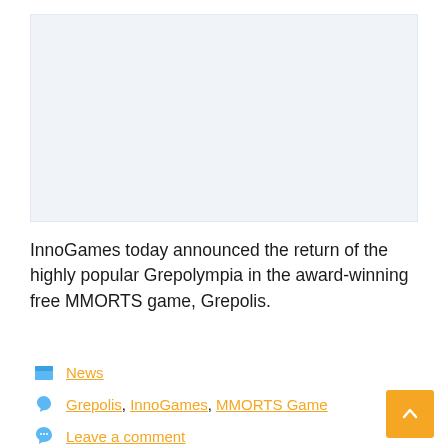[Figure (other): Light blue/gray placeholder image area]
InnoGames today announced the return of the highly popular Grepolympia in the award-winning free MMORTS game, Grepolis.
News
Grepolis, InnoGames, MMORTS Game
Leave a comment